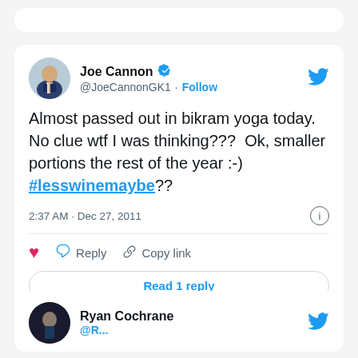[Figure (screenshot): Tweet by Joe Cannon (@JoeCannonGK1) with verified badge, posted at 2:37 AM Dec 27, 2011. Tweet text: 'Almost passed out in bikram yoga today. No clue wtf I was thinking???  Ok, smaller portions the rest of the year :-) #lesswinemaybe??' with reply and copy link actions, and a 'Read 1 reply' button.]
[Figure (screenshot): Partial tweet card by Ryan Cochrane at the bottom of the page.]